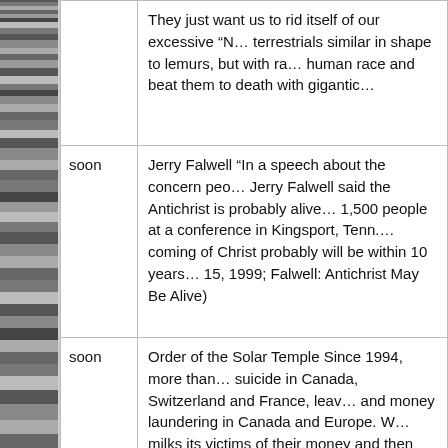[Figure (photo): Black and white photographic strip on the left side of the page showing various scenes]
| When | Description |
| --- | --- |
|  | They just want us to rid itself of our excessive “N… terrestrials similar in shape to lemurs, but with ra… human race and beat them to death with gigantic… |
| soon | Jerry Falwell “In a speech about the concern peo… Jerry Falwell said the Antichrist is probably alive… 1,500 people at a conference in Kingsport, Tenn.… coming of Christ probably will be within 10 years… 15, 1999; Falwell: Antichrist May Be Alive) |
| soon | Order of the Solar Temple Since 1994, more than… suicide in Canada, Switzerland and France, leav… and money laundering in Canada and Europe. W… milks its victims of their money and then dispose… remains unclear. The Order was founded in 1977… |